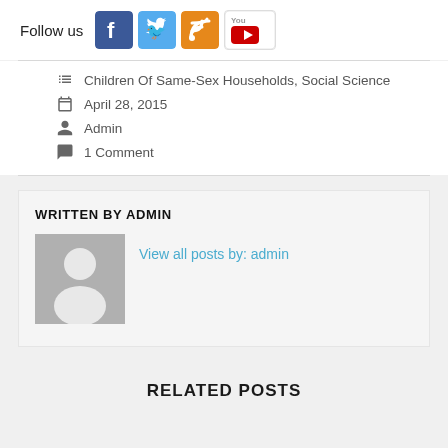Follow us
[Figure (logo): Social media icons: Facebook, Twitter, RSS feed, YouTube]
Children Of Same-Sex Households, Social Science
April 28, 2015
Admin
1 Comment
WRITTEN BY ADMIN
[Figure (illustration): Generic user avatar placeholder image, grey background with white silhouette]
View all posts by: admin
RELATED POSTS